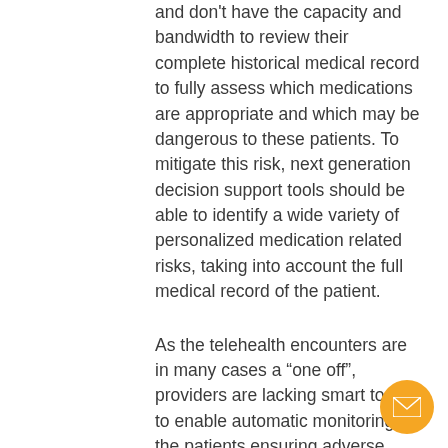and don't have the capacity and bandwidth to review their complete historical medical record to fully assess which medications are appropriate and which may be dangerous to these patients. To mitigate this risk, next generation decision support tools should be able to identify a wide variety of personalized medication related risks, taking into account the full medical record of the patient.
As the telehealth encounters are in many cases a “one off”, providers are lacking smart tools to enable automatic monitoring of the patients ensuring adverse drug events or emerging contraindications do not